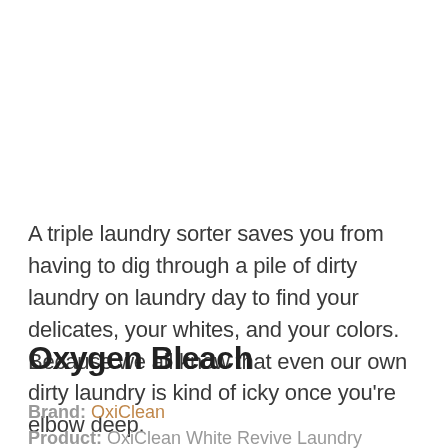A triple laundry sorter saves you from having to dig through a pile of dirty laundry on laundry day to find your delicates, your whites, and your colors. Because we all know that even our own dirty laundry is kind of icky once you're elbow deep.
Oxygen Bleach
Brand: OxiClean
Product: OxiClean White Revive Laundry Whitener...